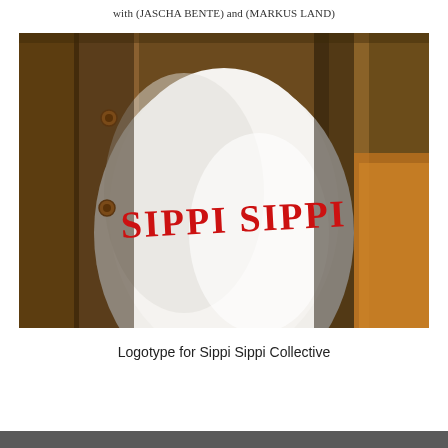with (JASCHA BENTE) and (MARKUS LAND)
[Figure (photo): Close-up photograph of a person wearing an open brown suede jacket over a white t-shirt printed with 'SIPPI SIPPI' in red stylized lettering. The text uses a distinctive mixed font style. The jacket has brown wooden buttons visible on the left side.]
Logotype for Sippi Sippi Collective